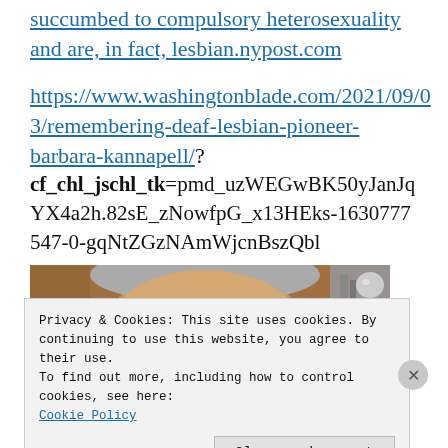succumbed to compulsory heterosexuality and are, in fact, lesbian.nypost.com
https://www.washingtonblade.com/2021/09/03/remembering-deaf-lesbian-pioneer-barbara-kannapell/?cf_chl_jschl_tk=pmd_uzWEGwBK50yJanJqYX4a2h.82sE_zNowfpG_x13HEks-1630777547-0-gqNtZGzNAmWjcnBszQbl
[Figure (photo): Close-up photo of a person's forehead and upper face with grey hair, partially visible.]
Privacy & Cookies: This site uses cookies. By continuing to use this website, you agree to their use. To find out more, including how to control cookies, see here: Cookie Policy
Close and accept